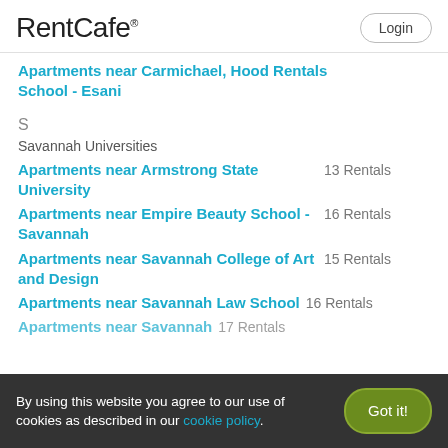RentCafe
Apartments near Carmichael, Hood Rentals School - Esani
S
Savannah Universities
Apartments near Armstrong State University  13 Rentals
Apartments near Empire Beauty School - Savannah  16 Rentals
Apartments near Savannah College of Art and Design  15 Rentals
Apartments near Savannah Law School  16 Rentals
Apartments near Savannah  17 Rentals
By using this website you agree to our use of cookies as described in our cookie policy.